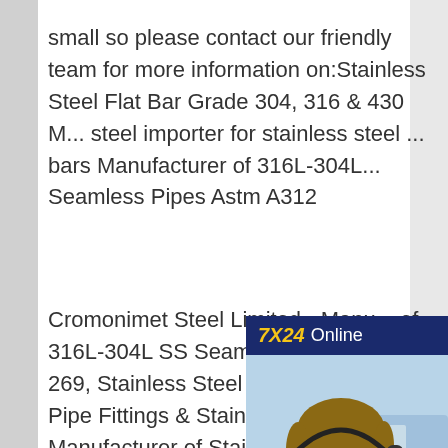small so please contact our friendly team for more information on:Stainless Steel Flat Bar Grade 304, 316 & 430 M... steel importer for stainless steel ... bars Manufacturer of 316L-304L... Seamless Pipes Astm A312
[Figure (photo): Customer service representative with headset, with '7X24 Online' header, 'Hello, may I help you?' text, and 'Get Latest Price' button]
Cromonimet Steel Limited - Manu... of 316L-304L SS Seamless Pipes... A312-269, Stainless Steel 304 - 3... Buttweld Pipe Fittings & Stainless Steel 304 Manufacturer of Stainless Steel Pipes and Tubes steel importer for stainless steel 316 flat barsEstablished in the year 1998, we "Mukesh Steel India" take the pleasure to introduce ourselves as one the largest Manufacturer, Wholesaler...